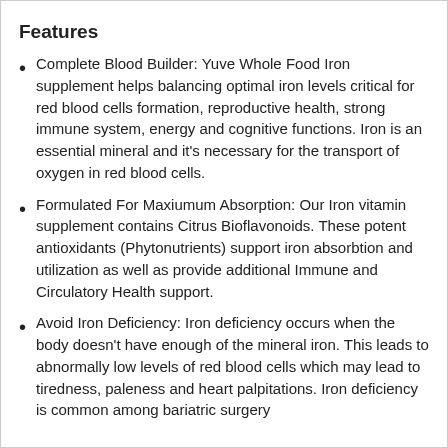Features
Complete Blood Builder: Yuve Whole Food Iron supplement helps balancing optimal iron levels critical for red blood cells formation, reproductive health, strong immune system, energy and cognitive functions. Iron is an essential mineral and it's necessary for the transport of oxygen in red blood cells.
Formulated For Maxiumum Absorption: Our Iron vitamin supplement contains Citrus Bioflavonoids. These potent antioxidants (Phytonutrients) support iron absorbtion and utilization as well as provide additional Immune and Circulatory Health support.
Avoid Iron Deficiency: Iron deficiency occurs when the body doesn't have enough of the mineral iron. This leads to abnormally low levels of red blood cells which may lead to tiredness, paleness and heart palpitations. Iron deficiency is common among bariatric surgery